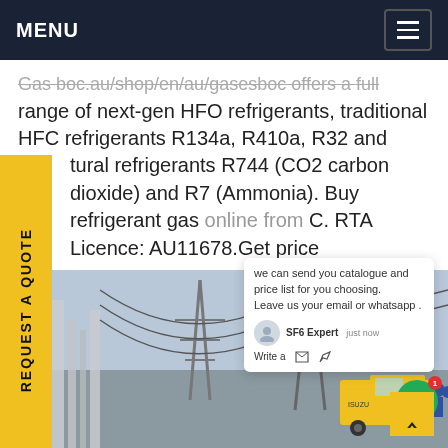MENU
Gas boc.au/shop/en/au/gasesboc offers a full range of next-gen HFO refrigerants, traditional HFC refrigerants R134a, R410a, R32 and R404a, plus natural refrigerants R744 (CO2 carbon dioxide) and R7 (Ammonia). Buy refrigerant gas online from C. RTA Licence: AU11678.Get price
[Figure (screenshot): Chat popup overlay showing a message: 'we can send you catalogue and price list for you choosing. Leave us your email or whatsapp .' with an agent avatar labeled 'SF6 Expert' and 'just now'.]
[Figure (photo): Industrial/electrical substation scene with high-voltage power transmission towers, cables, and a yellow truck in the foreground. Workers in blue uniforms visible near the truck.]
REQUEST A QUOTE
[Figure (other): Green circular chat button with a notification badge showing '1'.]
[Figure (other): Yellow back-to-top button with upward arrow (^).]